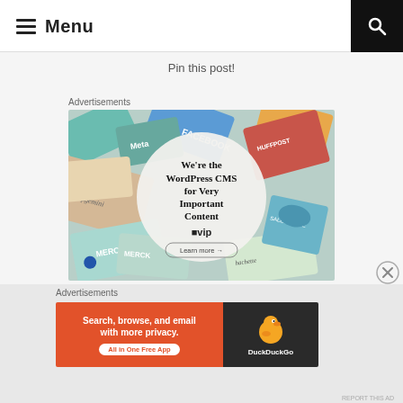Menu
Pin this post!
Advertisements
[Figure (screenshot): WordPress VIP advertisement showing colorful brand cards (Meta, Facebook, Capgemini, Merck, Hachette, Salesforce) in the background with a circular overlay reading 'We're the WordPress CMS for Very Important Content' with a WP VIP logo and 'Learn more →' button]
Advertisements
[Figure (screenshot): DuckDuckGo advertisement banner with orange left section reading 'Search, browse, and email with more privacy. All in One Free App' and dark right section showing DuckDuckGo duck logo and name]